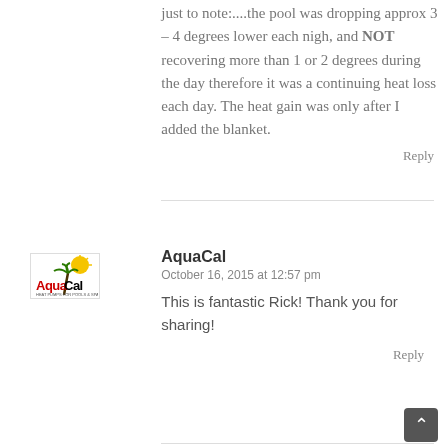just to note:....the pool was dropping approx 3 – 4 degrees lower each nigh, and NOT recovering more than 1 or 2 degrees during the day therefore it was a continuing heat loss each day. The heat gain was only after I added the blanket.
Reply
[Figure (logo): AquaCal company logo with palm tree and sun]
AquaCal
October 16, 2015 at 12:57 pm
This is fantastic Rick! Thank you for sharing!
Reply